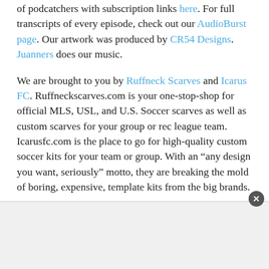of podcatchers with subscription links here. For full transcripts of every episode, check out our AudioBurst page. Our artwork was produced by CR54 Designs. Juanners does our music.
We are brought to you by Ruffneck Scarves and Icarus FC. Ruffneckscarves.com is your one-stop-shop for official MLS, USL, and U.S. Soccer scarves as well as custom scarves for your group or rec league team. Icarusfc.com is the place to go for high-quality custom soccer kits for your team or group. With an “any design you want, seriously” motto, they are breaking the mold of boring, expensive, template kits from the big brands.
[Figure (other): Advertisement banner area with a close (x) button in upper right corner]